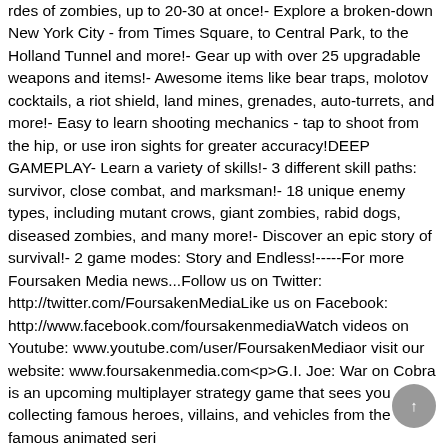rdes of zombies, up to 20-30 at once!- Explore a broken-down New York City - from Times Square, to Central Park, to the Holland Tunnel and more!- Gear up with over 25 upgradable weapons and items!- Awesome items like bear traps, molotov cocktails, a riot shield, land mines, grenades, auto-turrets, and more!- Easy to learn shooting mechanics - tap to shoot from the hip, or use iron sights for greater accuracy!DEEP GAMEPLAY- Learn a variety of skills!- 3 different skill paths: survivor, close combat, and marksman!- 18 unique enemy types, including mutant crows, giant zombies, rabid dogs, diseased zombies, and many more!- Discover an epic story of survival!- 2 game modes: Story and Endless!-----For more Foursaken Media news...Follow us on Twitter: http://twitter.com/FoursakenMediaLike us on Facebook: http://www.facebook.com/foursakenmediaWatch videos on Youtube: www.youtube.com/user/FoursakenMediaor visit our website: www.foursakenmedia.com<p>G.I. Joe: War on Cobra is an upcoming multiplayer strategy game that sees you collecting famous heroes, villains, and vehicles from the famous animated seri